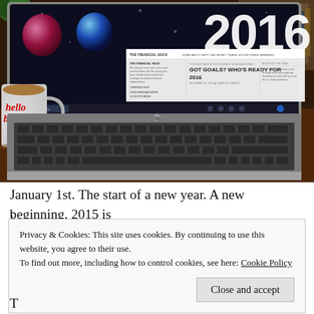[Figure (photo): Photo of an HP laptop on a wooden desk with a 'hello beauty full' coffee mug beside it. The laptop screen shows a website with '2016' text and Christmas ornaments, with a blog post titled 'GOT GOALS? WHO'S READY FOR 2016'. A green plant is visible in the background.]
January 1st. The start of a new year. A new beginning. 2015 is
Privacy & Cookies: This site uses cookies. By continuing to use this website, you agree to their use.
To find out more, including how to control cookies, see here: Cookie Policy
Close and accept
T